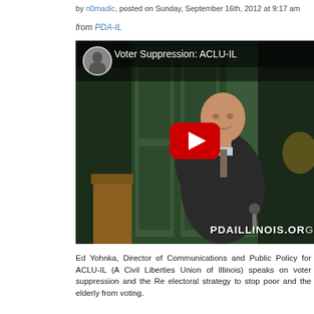by n0madic, posted on Sunday, September 16th, 2012 at 9:17 am
from PDA-IL
[Figure (screenshot): YouTube video thumbnail showing a man in a dark suit speaking into a microphone in front of green-painted wooden doors. The video title reads 'Voter Suppression: ACLU-IL'. A YouTube play button is centered on the image. A YouTube avatar circle is in the top left. Watermark text 'PDAILLINOIS.ORG' is in the bottom right.]
Ed Yohnka, Director of Communications and Public Policy for ACLU-IL (A Civil Liberties Union of Illinois) speaks on voter suppression and the Re electoral strategy to stop poor and the elderly from voting.